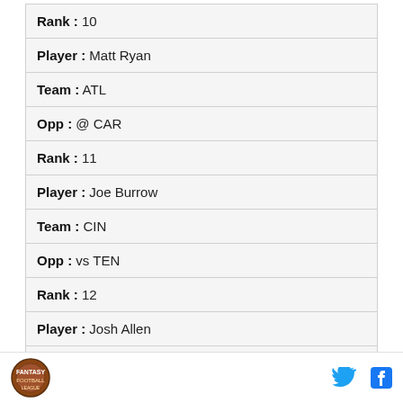| Rank : 10 |
| Player : Matt Ryan |
| Team : ATL |
| Opp : @ CAR |
| Rank : 11 |
| Player : Joe Burrow |
| Team : CIN |
| Opp : vs TEN |
| Rank : 12 |
| Player : Josh Allen |
| Team : BUF |
Logo | Twitter | Facebook